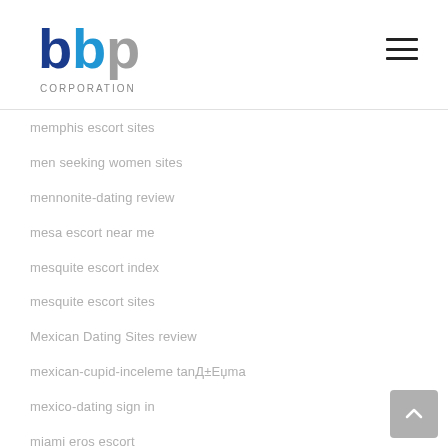bbp Corporation
memphis escort sites
men seeking women sites
mennonite-dating review
mesa escort near me
mesquite escort index
mesquite escort sites
Mexican Dating Sites review
mexican-cupid-inceleme tanД±Еџma
mexico-dating sign in
miami eros escort